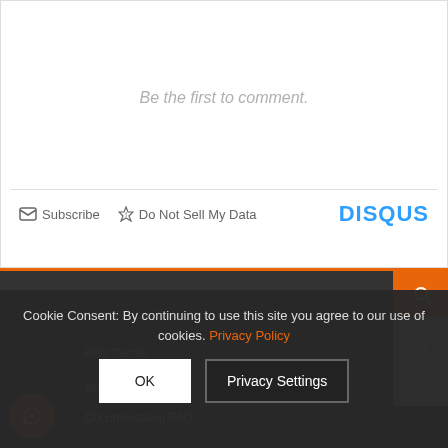Be the first to comment.
Subscribe   Do Not Sell My Data   DISQUS
CUSTOMER CARE
Help Center
Buyer Services
Documentation FAQ
Cookie Consent: By continuing to use this site you agree to our use of cookies. Privacy Policy
OK   Privacy Settings